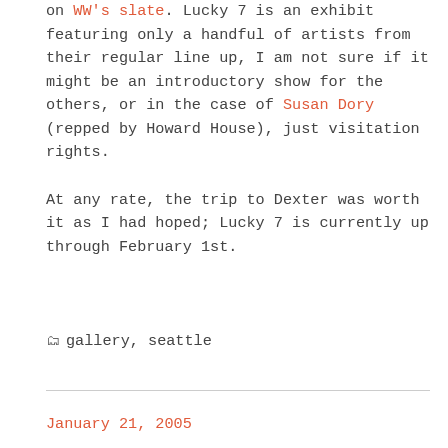on WW's slate. Lucky 7 is an exhibit featuring only a handful of artists from their regular line up, I am not sure if it might be an introductory show for the others, or in the case of Susan Dory (repped by Howard House), just visitation rights.

At any rate, the trip to Dexter was worth it as I had hoped; Lucky 7 is currently up through February 1st.
gallery, seattle
January 21, 2005